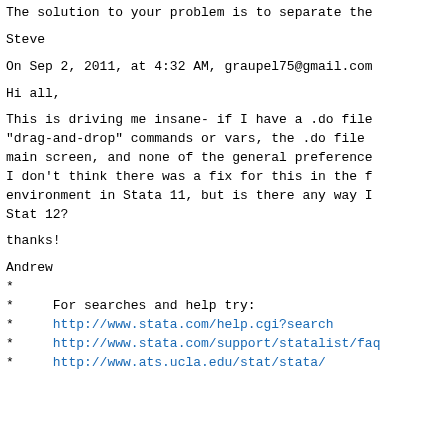The solution to your problem is to separate the
Steve
On Sep 2, 2011, at 4:32 AM, graupel75@gmail.com
Hi all,
This is driving me insane- if I have a .do file
"drag-and-drop" commands or vars, the .do file
main screen, and none of the general preference
I don't think there was a fix for this in the f
environment in Stata 11, but is there any way I
Stat 12?
thanks!
Andrew
*
*     For searches and help try:
*     http://www.stata.com/help.cgi?search
*     http://www.stata.com/support/statalist/faq
*     http://www.ats.ucla.edu/stat/stata/